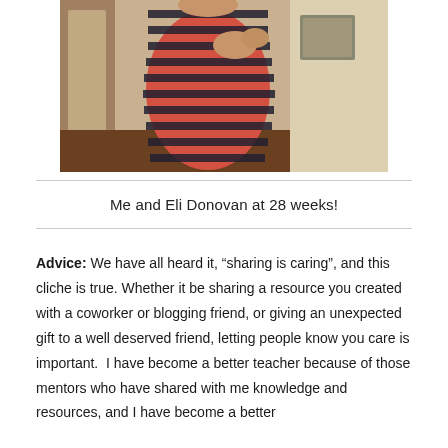[Figure (photo): A pregnant woman in a red and navy striped maxi dress, photographed from the side showing baby bump, taken indoors]
Me and Eli Donovan at 28 weeks!
Advice: We have all heard it, “sharing is caring”, and this cliche is true. Whether it be sharing a resource you created with a coworker or blogging friend, or giving an unexpected gift to a well deserved friend, letting people know you care is important. I have become a better teacher because of those mentors who have shared with me knowledge and resources, and I have become a better